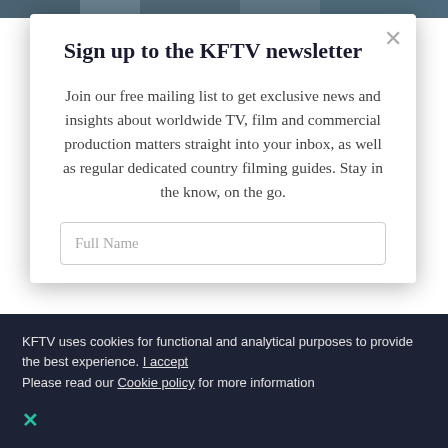[Figure (photo): Partial background photo strip at the top of the page, showing people on a film/TV production set]
Sign up to the KFTV newsletter
Join our free mailing list to get exclusive news and insights about worldwide TV, film and commercial production matters straight into your inbox, as well as regular dedicated country filming guides. Stay in the know, on the go.
Full Name
KFTV uses cookies for functional and analytical purposes to provide the best experience. I accept
Please read our Cookie policy for more information